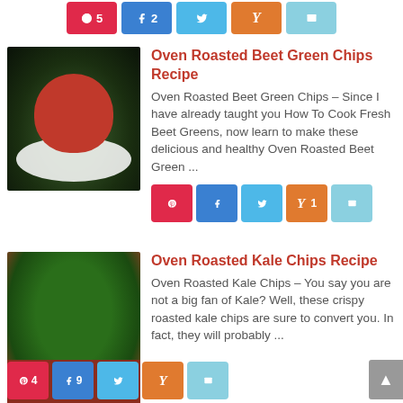[Figure (other): Social share buttons row at top: Pinterest 5, Facebook 2, Twitter, Yummly, Email]
[Figure (photo): Photo of beet green chips in a red cup on a white plate]
Oven Roasted Beet Green Chips Recipe
Oven Roasted Beet Green Chips – Since I have already taught you How To Cook Fresh Beet Greens, now learn to make these delicious and healthy Oven Roasted Beet Green ...
[Figure (other): Social share buttons: Pinterest, Facebook, Twitter, Yummly 1, Email]
[Figure (photo): Photo of kale chips in a red tin container]
Oven Roasted Kale Chips Recipe
Oven Roasted Kale Chips – You say you are not a big fan of Kale?  Well, these crispy roasted kale chips are sure to convert you.  In fact, they will probably ...
[Figure (other): Social share buttons: Pinterest 4, Facebook 9, Twitter, Yummly, Email]